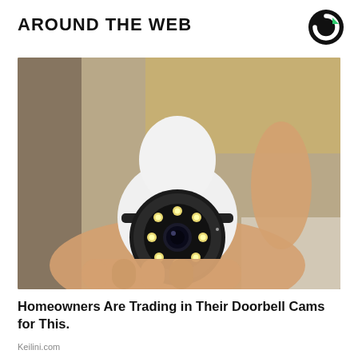AROUND THE WEB
[Figure (logo): Circular logo with black background and green accent — Outbrain or similar content recommendation network logo]
[Figure (photo): A hand holding a white bulb-shaped security camera with a black camera lens ring and multiple LED lights arranged in a circle, resembling a light bulb screws into a socket. Background shows wooden boxes/shelving.]
Homeowners Are Trading in Their Doorbell Cams for This.
Keilini.com